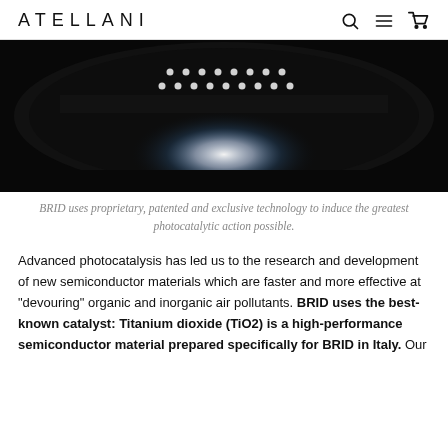ATELLANI
[Figure (photo): Close-up photo of BRID lighting device with LED elements on dark background, showing diagonal light pattern]
BRID uses proprietary, patented and exclusive technology to induce the greatest photocatalytic action possible.
Advanced photocatalysis has led us to the research and development of new semiconductor materials which are faster and more effective at "devouring" organic and inorganic air pollutants. BRID uses the best-known catalyst: Titanium dioxide (TiO2) is a high-performance semiconductor material prepared specifically for BRID in Italy. Our